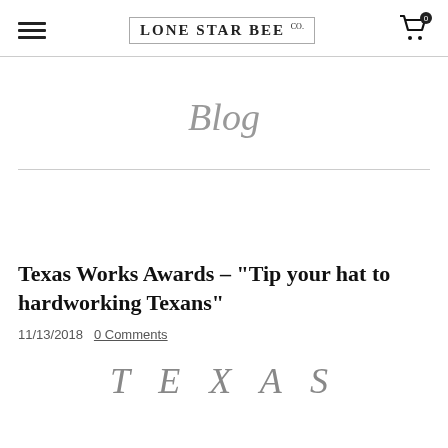Lone Star Bee Co.
Blog
Texas Works Awards – "Tip your hat to hardworking Texans"
11/13/2018  0 Comments
TEXAS